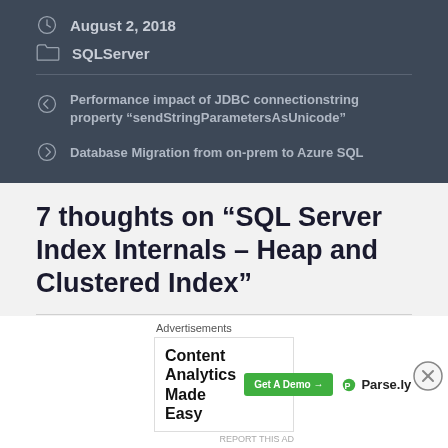August 2, 2018
SQLServer
Performance impact of JDBC connectionstring property “sendStringParametersAsUnicode”
Database Migration from on-prem to Azure SQL
7 thoughts on “SQL Server Index Internals – Heap and Clustered Index”
Advertisements
Content Analytics Made Easy